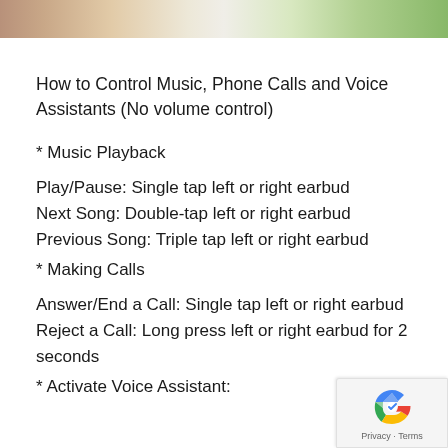[Figure (photo): Partial image strip at the top showing blurred/cropped photos]
How to Control Music, Phone Calls and Voice Assistants (No volume control)
* Music Playback
Play/Pause: Single tap left or right earbud
Next Song: Double-tap left or right earbud
Previous Song: Triple tap left or right earbud
* Making Calls
Answer/End a Call: Single tap left or right earbud
Reject a Call: Long press left or right earbud for 2 seconds
* Activate Voice Assistant: